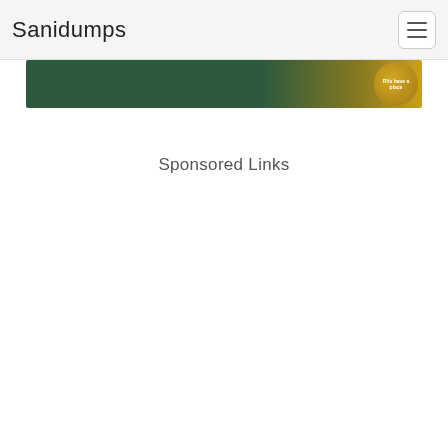Sanidumps
[Figure (photo): Website banner image showing a forest/outdoor scene with a gold circular badge/logo on the right side]
Sponsored Links